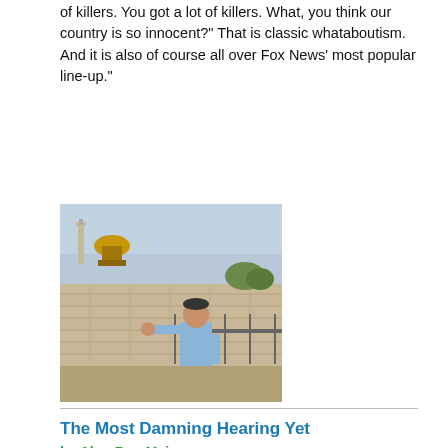of killers. You got a lot of killers. What, you think our country is so innocent?" That is classic whataboutism. And it is also of course all over Fox News' most popular line-up."
[Figure (photo): A man in a light blue long-sleeve shirt leaning against a railing, with the Dome of the Rock and the Western Wall in Jerusalem visible in the background.]
The Most Damning Hearing Yet
by Alon Ben-Meir
Jul 24th 2022
EXTRACTS: "For three hours, against the unequivocal advice of his counsel, friends, and family, Trump purposefully and steadfastly declined